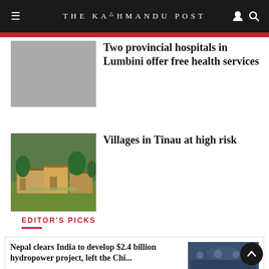THE KATHMANDU POST
Two provincial hospitals in Lumbini offer free health services
Villages in Tinau at high risk
EDITOR'S PICKS
Nepal clears India to develop $2.4 billion hydropower project, left the Chi...